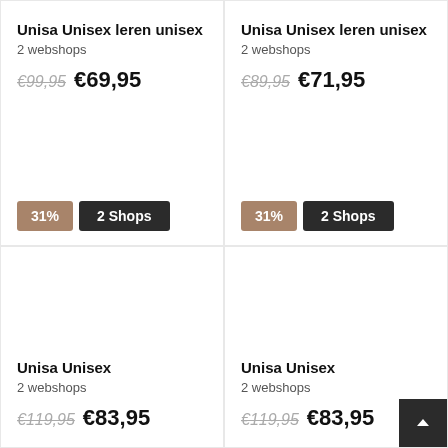Unisa Unisex leren unisex
2 webshops
€99,95  €69,95
Unisa Unisex leren unisex
2 webshops
€89,95  €71,95
Unisa Unisex
2 webshops
€119,95  €83,95
Unisa Unisex
2 webshops
€119,95  €83,95